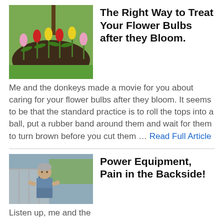[Figure (photo): Flower garden with red, yellow, and pink tulips in a circular bed with dark mulch, green grass and trees in background.]
The Right Way to Treat Your Flower Bulbs after they Bloom.
Me and the donkeys made a movie for you about caring for your flower bulbs after they bloom. It seems to be that the standard practice is to roll the tops into a ball, put a rubber band around them and wait for them to turn brown before you cut them … Read Full Article
[Figure (photo): Older man in overalls and blue shirt working outdoors, possibly with farm equipment or animals.]
Power Equipment, Pain in the Backside!
Listen up, me and the